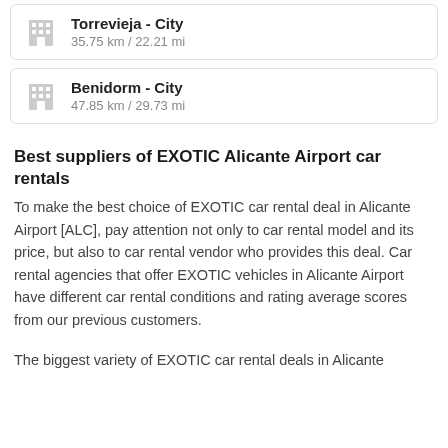Torrevieja - City
35.75 km / 22.21 mi
Benidorm - City
47.85 km / 29.73 mi
Best suppliers of EXOTIC Alicante Airport car rentals
To make the best choice of EXOTIC car rental deal in Alicante Airport [ALC], pay attention not only to car rental model and its price, but also to car rental vendor who provides this deal. Car rental agencies that offer EXOTIC vehicles in Alicante Airport have different car rental conditions and rating average scores from our previous customers.
The biggest variety of EXOTIC car rental deals in Alicante